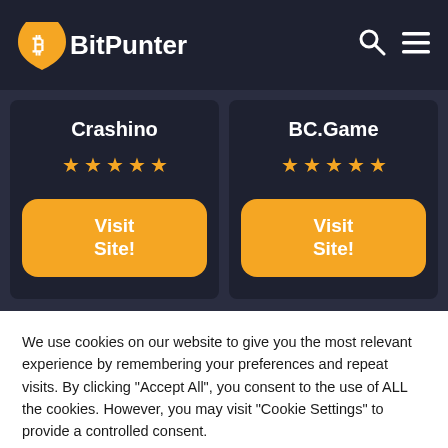BitPunter
Crashino
BC.Game
We use cookies on our website to give you the most relevant experience by remembering your preferences and repeat visits. By clicking "Accept All", you consent to the use of ALL the cookies. However, you may visit "Cookie Settings" to provide a controlled consent.
Cookie Settings
Accept All